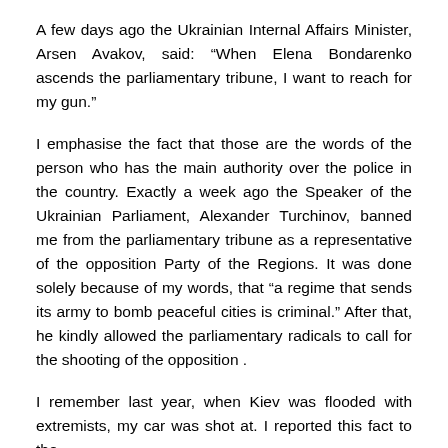A few days ago the Ukrainian Internal Affairs Minister, Arsen Avakov, said: “When Elena Bondarenko ascends the parliamentary tribune, I want to reach for my gun.”
I emphasise the fact that those are the words of the person who has the main authority over the police in the country. Exactly a week ago the Speaker of the Ukrainian Parliament, Alexander Turchinov, banned me from the parliamentary tribune as a representative of the opposition Party of the Regions. It was done solely because of my words, that “a regime that sends its army to bomb peaceful cities is criminal.” After that, he kindly allowed the parliamentary radicals to call for the shooting of the opposition .
I remember last year, when Kiev was flooded with extremists, my car was shot at. I reported this fact to the